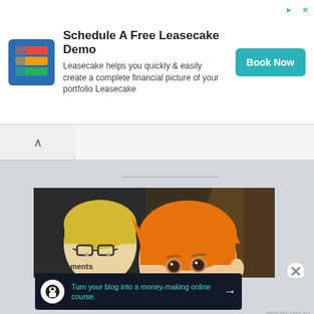[Figure (other): Leasecake advertisement banner with logo, headline 'Schedule A Free Leasecake Demo', body text, and 'Book Now' button]
[Figure (illustration): Anime screenshot from Haikyuu showing two characters in black jackets, one with orange hair smiling and one with glasses and blonde hair]
Advertisements
[Figure (other): Dark advertisement banner: 'Turn your blog into a money-making online course.' with arrow button]